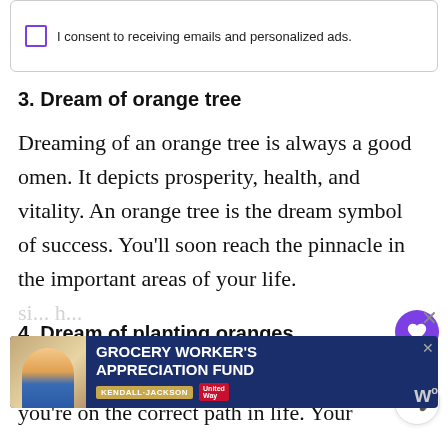I consent to receiving emails and personalized ads.
3. Dream of orange tree
Dreaming of an orange tree is always a good omen. It depicts prosperity, health, and vitality. An orange tree is the dream symbol of success. You’ll soon reach the pinnacle in the important areas of your life.
4. Dream of planting oranges
Dreams of planting oranges symbolize you’re on the correct path in life. Your
[Figure (screenshot): Advertisement banner for Grocery Worker's Appreciation Fund featuring Kendall-Jackson and United Way logos]
h...